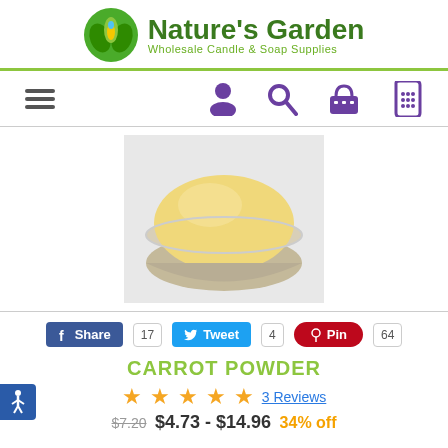[Figure (logo): Nature's Garden logo with green leaf/flame icon and text 'Nature's Garden Wholesale Candle & Soap Supplies']
[Figure (infographic): Navigation bar with hamburger menu icon, user icon, search icon, cart/basket icon, phone/keypad icon]
[Figure (photo): Product photo of yellow carrot powder in a glass bowl on a white background]
Share 17   Tweet 4   Pin 64
CARROT POWDER
3 Reviews (4.5 stars rating)
$4.73 - $14.96  34% off